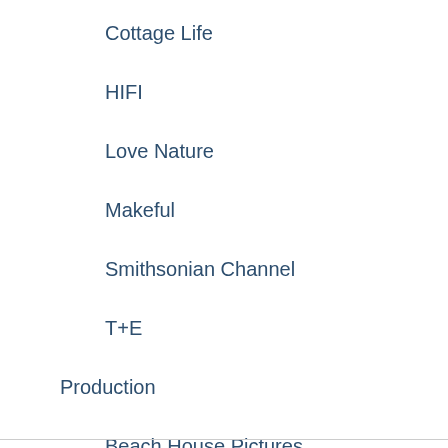Cottage Life
HIFI
Love Nature
Makeful
Smithsonian Channel
T+E
Production
Beach House Pictures
Blue Ant Studios USA
Look Mom! Productions
NHNZ
Saloon Media